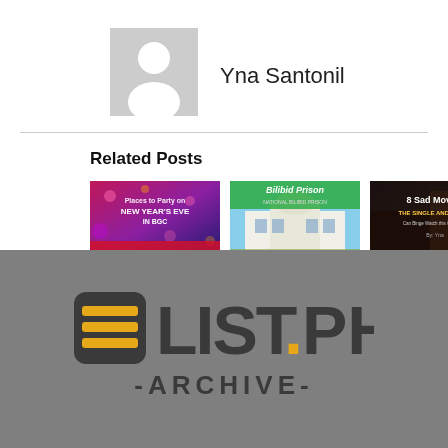[Figure (illustration): Generic user avatar placeholder – grey square with white silhouette of a person]
Yna Santonil
Related Posts
[Figure (photo): Thumbnail: Places to Party on New Year's Eve in BGC – colorful party background]
[Figure (photo): Thumbnail: Bilibid Prison – white building under blue sky with green text overlay]
[Figure (photo): Thumbnail: 8 Sad Movies The Single and Alone – dark moody indoor background]
[Figure (logo): 8LIST.PH ARCHIVE logo on grey background]